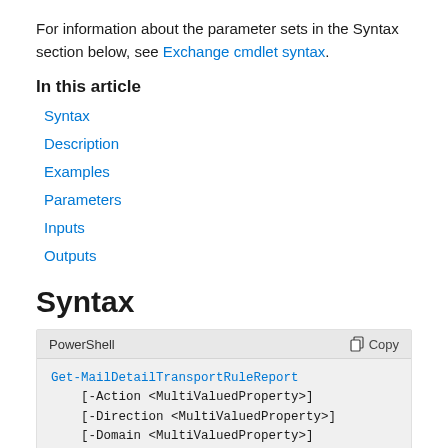For information about the parameter sets in the Syntax section below, see Exchange cmdlet syntax.
In this article
Syntax
Description
Examples
Parameters
Inputs
Outputs
Syntax
PowerShell code block showing Get-MailDetailTransportRuleReport cmdlet syntax with parameters [-Action <MultiValuedProperty>] [-Direction <MultiValuedProperty>] [-Domain <MultiValuedProperty>]